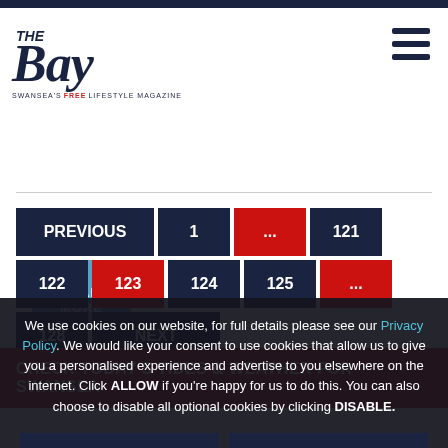The Bay — Swansea's free lifestyle magazine
READ MORE
Pagination: PREVIOUS | 1 | ... | 121 | 122 | 123 | 124 | 125 | ... | 128 | NEXT
CHECK TODAY'S TIDES & WEATHER FOR SWANSEA
We use cookies on our website, for full details please see our Privacy Policy. We would like your consent to use cookies that allow us to give you a personalised experience and advertise to you elsewhere on the internet. Click ALLOW if you're happy for us to do this. You can also choose to disable all optional cookies by clicking DISABLE.
Allow
Disable